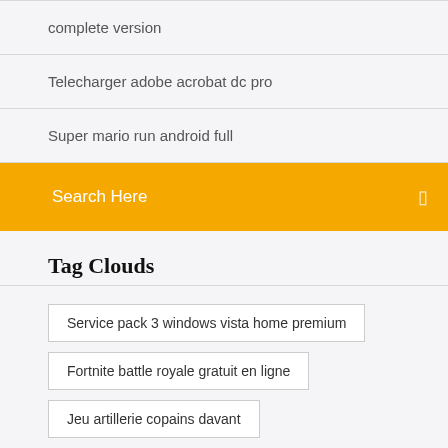complete version
Telecharger adobe acrobat dc pro
Super mario run android full
Search Here
Tag Clouds
Service pack 3 windows vista home premium
Fortnite battle royale gratuit en ligne
Jeu artillerie copains davant
World of warcraft theme wordpress